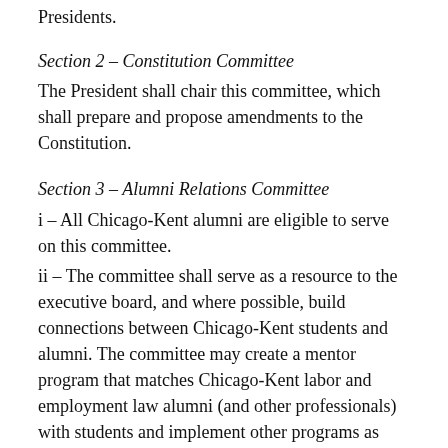Presidents.
Section 2 – Constitution Committee
The President shall chair this committee, which shall prepare and propose amendments to the Constitution.
Section 3 – Alumni Relations Committee
i – All Chicago-Kent alumni are eligible to serve on this committee.
ii – The committee shall serve as a resource to the executive board, and where possible, build connections between Chicago-Kent students and alumni. The committee may create a mentor program that matches Chicago-Kent labor and employment law alumni (and other professionals) with students and implement other programs as needed.